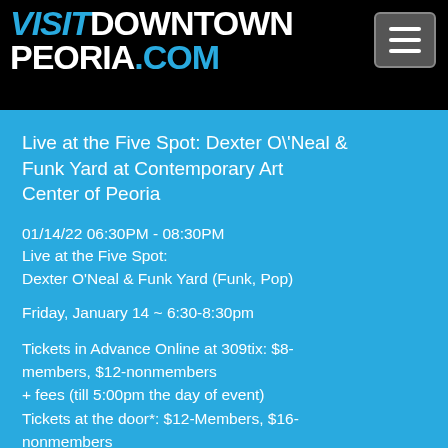VISITDOWNTOWNPEORIA.COM
Live at the Five Spot: Dexter O'Neal & Funk Yard at Contemporary Art Center of Peoria
01/14/22 06:30PM - 08:30PM
Live at the Five Spot:
Dexter O'Neal & Funk Yard (Funk, Pop)
Friday, January 14 ~ 6:30-8:30pm
Tickets in Advance Online at 309tix: $8-members, $12-nonmembers
+ fees (till 5:00pm the day of event)
Tickets at the door*: $12-Members, $16-nonmembers
(*No money will be taken at the door unless